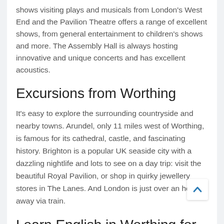shows visiting plays and musicals from London's West End and the Pavilion Theatre offers a range of excellent shows, from general entertainment to children's shows and more. The Assembly Hall is always hosting innovative and unique concerts and has excellent acoustics.
Excursions from Worthing
It's easy to explore the surrounding countryside and nearby towns. Arundel, only 11 miles west of Worthing, is famous for its cathedral, castle, and fascinating history. Brighton is a popular UK seaside city with a dazzling nightlife and lots to see on a day trip: visit the beautiful Royal Pavilion, or shop in quirky jewellery stores in The Lanes. And London is just over an hour away via train.
Learn English in Worthing for an amazing